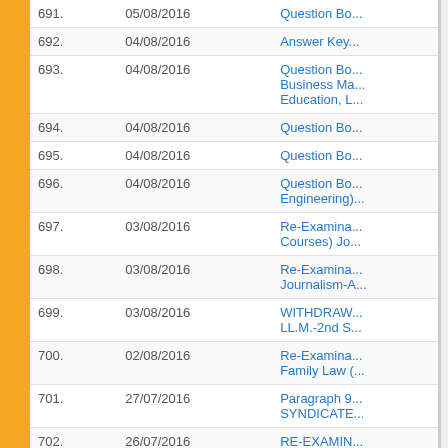| # | Date | Description |
| --- | --- | --- |
| 691. | 05/08/2016 | Question Bo... |
| 692. | 04/08/2016 | Answer Key... |
| 693. | 04/08/2016 | Question Bo... Business Ma... Education, L... |
| 694. | 04/08/2016 | Question Bo... |
| 695. | 04/08/2016 | Question Bo... |
| 696. | 04/08/2016 | Question Bo... Engineering)... |
| 697. | 03/08/2016 | Re-Examina... Courses) Jo... |
| 698. | 03/08/2016 | Re-Examina... Journalism-A... |
| 699. | 03/08/2016 | WITHDRAW... LL.M.-2nd S... |
| 700. | 02/08/2016 | Re-Examina... Family Law (... |
| 701. | 27/07/2016 | Paragraph 9... SYNDICATE... |
| 702. | 26/07/2016 | RE-EXAMIN... Special clas... |